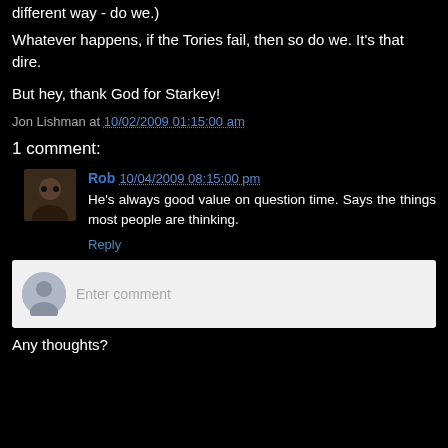different way - do we.)
Whatever happens, if the Tories fail, then so do we. It's that dire.
But hey, thank God for Starkey!
Jon Lishman at 10/02/2009 01:15:00 am
1 comment:
Rob 10/04/2009 08:15:00 pm
He's always good value on question time. Says the things most people are thinking.
Reply
Enter comment
Any thoughts?